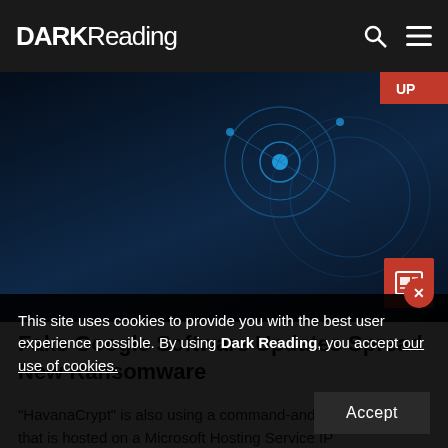DARK Reading
[Figure (photo): Dark blue abstract cybersecurity background with circular digital elements and glowing circuit patterns]
Fake Google Software Updates Spread New Ransomware
"HavanaCrypt" is also using a command-and-control server that is hosted on a Microsoft Hosting Service IP...
This site uses cookies to provide you with the best user experience possible. By using Dark Reading, you accept our use of cookies.